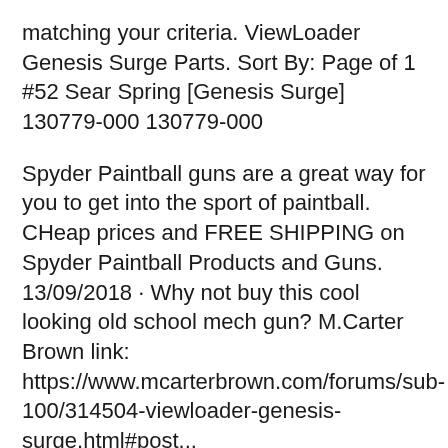matching your criteria. ViewLoader Genesis Surge Parts. Sort By: Page of 1 #52 Sear Spring [Genesis Surge] 130779-000 130779-000
Spyder Paintball guns are a great way for you to get into the sport of paintball. CHeap prices and FREE SHIPPING on Spyder Paintball Products and Guns. 13/09/2018 · Why not buy this cool looking old school mech gun? M.Carter Brown link: https://www.mcarterbrown.com/forums/sub-100/314504-viewloader-genesis-surge.html#post...
Find many great new & used options and get the best deals for Viewloader...